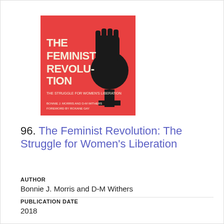[Figure (illustration): Book cover of 'The Feminist Revolution: The Struggle for Women's Liberation' with a red background, raised fist with female symbol, and bold white text. Authors: Bonnie J. Morris and D-M Withers. Foreword by Roxane Gay.]
96. The Feminist Revolution: The Struggle for Women's Liberation
AUTHOR
Bonnie J. Morris and D-M Withers
PUBLICATION DATE
2018